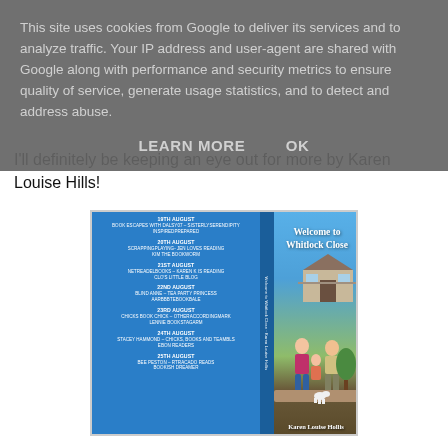This site uses cookies from Google to deliver its services and to analyze traffic. Your IP address and user-agent are shared with Google along with performance and security metrics to ensure quality of service, generate usage statistics, and to detect and address abuse.
LEARN MORE   OK
I'll definitely be keeping an eye out for more by Karen Louise Hills!
[Figure (photo): Book cover for 'Welcome to Whitlock Close' by Karen Louise Hollis, showing a blue cover with a blog tour schedule on the left panel, the book title on the right panel, and illustrations of people including a woman and man near a house with a white dog. Author name Karen Louise Hollis appears at the bottom.]